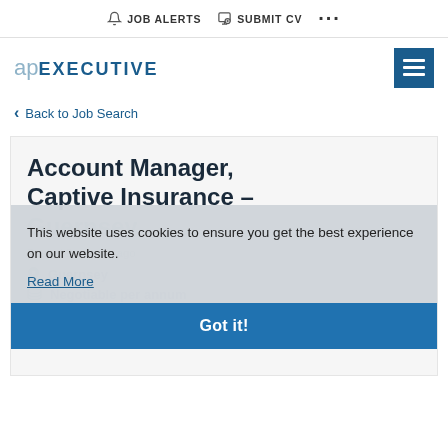JOB ALERTS  SUBMIT CV  ...
[Figure (logo): ap EXECUTIVE logo with hamburger menu icon]
Back to Job Search
Account Manager, Captive Insurance - Guernsey
Posted 2 months ago
Guernsey
Negotiable per annum
Permanent
This website uses cookies to ensure you get the best experience on our website.
Read More
Got it!